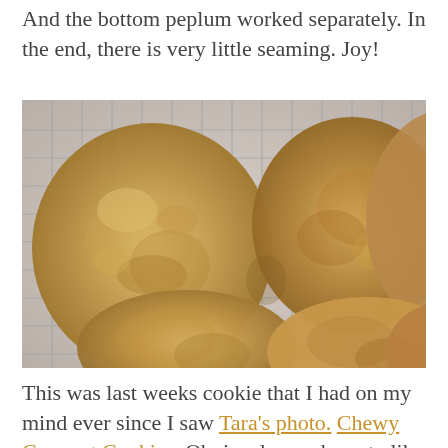And the bottom peplum worked separately. In the end, there is very little seaming. Joy!
[Figure (photo): Overhead close-up photo of golden-brown oatmeal/coconut cookies cooling on a wire rack. Multiple large round cookies visible, showing their textured surfaces.]
This was last weeks cookie that I had on my mind ever since I saw Tara's photo. Chewy Coconut Cookies. Obviously you have to like coconut. A hit with two out of three of my kids. They were fabulous and we felt as if